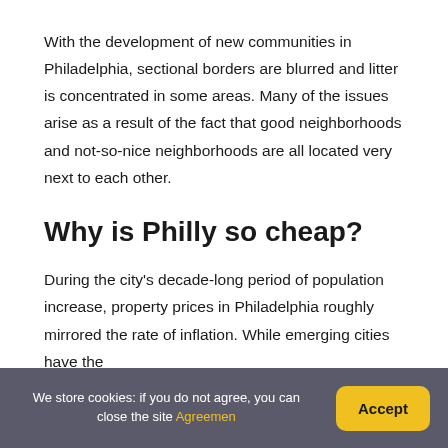With the development of new communities in Philadelphia, sectional borders are blurred and litter is concentrated in some areas. Many of the issues arise as a result of the fact that good neighborhoods and not-so-nice neighborhoods are all located very next to each other.
Why is Philly so cheap?
During the city's decade-long period of population increase, property prices in Philadelphia roughly mirrored the rate of inflation. While emerging cities have the
We store cookies: if you do not agree, you can close the site Agreemen